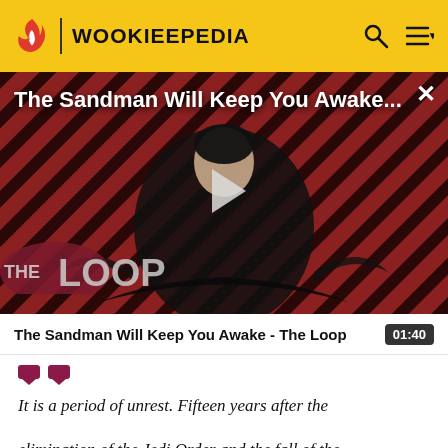WOOKIEEPEDIA
[Figure (screenshot): Video thumbnail for 'The Sandman Will Keep You Awake...' featuring a dark-cloaked figure against a diagonal striped red and black background, with a play button overlay and 'THE LOOP' logo watermark in the lower left.]
The Sandman Will Keep You Awake - The Loop 01:40
It is a period of unrest. Fifteen years after the elimination of the Jedi Order and the fall of the